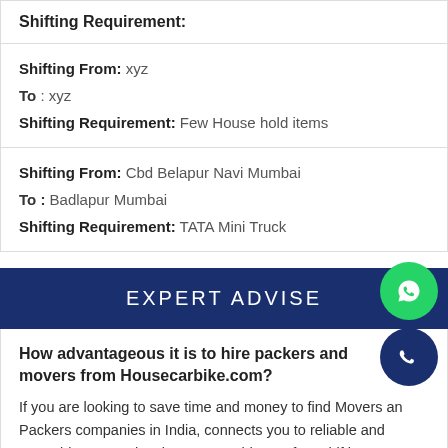Shifting Requirement:
Shifting From: xyz
To: xyz
Shifting Requirement: Few House hold items
Shifting From: Cbd Belapur Navi Mumbai
To: Badlapur Mumbai
Shifting Requirement: TATA Mini Truck
EXPERT ADVISE
How advantageous it is to hire packers and movers from Housecarbike.com?
If you are looking to save time and money to find Movers and Packers companies in India, connects you to reliable and reputable companies that can provide you free shifting quotes instantly and solve all questions related to Household and